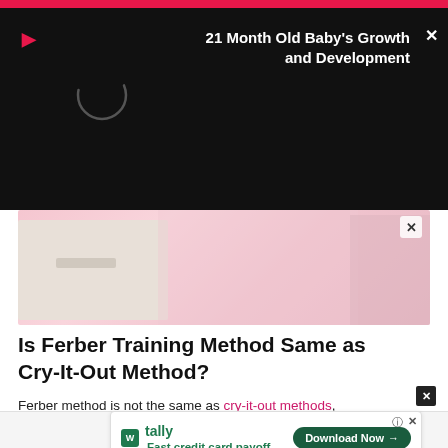[Figure (screenshot): Video overlay popup with black background, pink play button icon, title '21 Month Old Baby's Growth and Development', loading circle spinner, and X close button]
[Figure (photo): Photo of a person in white near a pink baby crib and white dresser in a nursery room]
Is Ferber Training Method Same as Cry-It-Out Method?
Ferber method is not the same as cry-it-out methods, although each other.
[Figure (screenshot): Tally advertisement overlay: 'Fast credit card payoff' with green Tally logo and 'Download Now' button]
SHOPPING   PARENTING